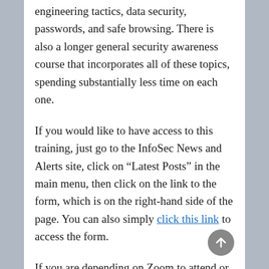engineering tactics, data security, passwords, and safe browsing. There is also a longer general security awareness course that incorporates all of these topics, spending substantially less time on each one.
If you would like to have access to this training, just go to the InfoSec News and Alerts site, click on “Latest Posts” in the main menu, then click on the link to the form, which is on the right-hand side of the page. You can also simply click this link to access the form.
If you are depending on Zoom to attend or conduct classes or for work, be sure to check out